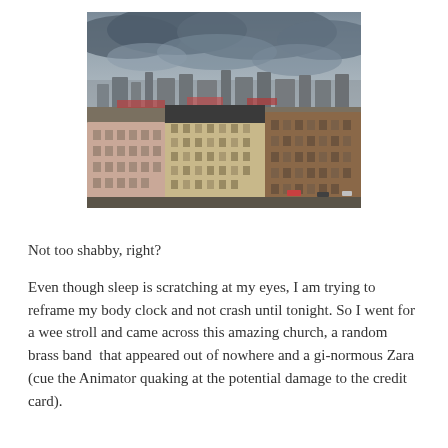[Figure (photo): Aerial view of a European city with historic buildings, orange and brown rooftops, and a cloudy grey sky. Dense urban architecture typical of Central Europe.]
Not too shabby, right?
Even though sleep is scratching at my eyes, I am trying to reframe my body clock and not crash until tonight. So I went for a wee stroll and came across this amazing church, a random brass band  that appeared out of nowhere and a gi-normous Zara (cue the Animator quaking at the potential damage to the credit card).